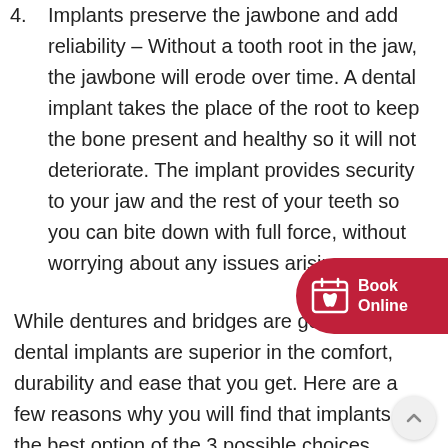4. Implants preserve the jawbone and add reliability – Without a tooth root in the jaw, the jawbone will erode over time. A dental implant takes the place of the root to keep the bone present and healthy so it will not deteriorate. The implant provides security to your jaw and the rest of your teeth so you can bite down with full force, without worrying about any issues arising.
While dentures and bridges are good options, dental implants are superior in the comfort, durability and ease that you get. Here are a few reasons why you will find that implants are the best option of the 3 possible choices.